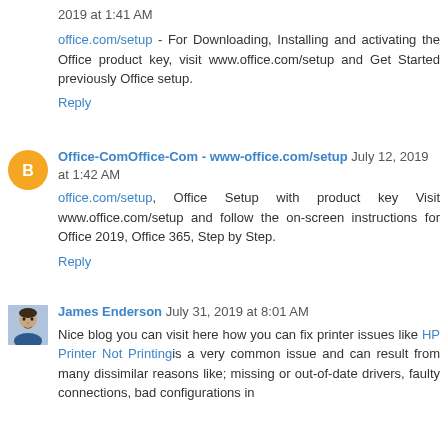2019 at 1:41 AM
office.com/setup - For Downloading, Installing and activating the Office product key, visit www.office.com/setup and Get Started previously Office setup.
Reply
Office-ComOffice-Com - www-office.com/setup July 12, 2019 at 1:42 AM
office.com/setup, Office Setup with product key Visit www.office.com/setup and follow the on-screen instructions for Office 2019, Office 365, Step by Step.
Reply
James Enderson July 31, 2019 at 8:01 AM
Nice blog you can visit here how you can fix printer issues like HP Printer Not Printingis a very common issue and can result from many dissimilar reasons like; missing or out-of-date drivers, faulty connections, bad configurations in